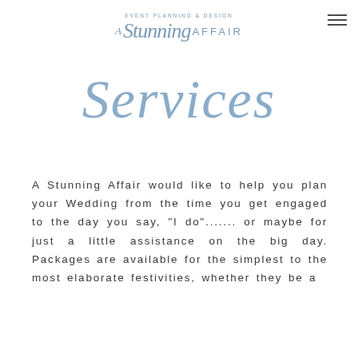EVENT PLANNING & DESIGN A Stunning AFFAIR
Services
A Stunning Affair would like to help you plan your Wedding from the time you get engaged to the day you say, "I do"....... or maybe for just a little assistance on the big day. Packages are available for the simplest to the most elaborate festivities, whether they be a